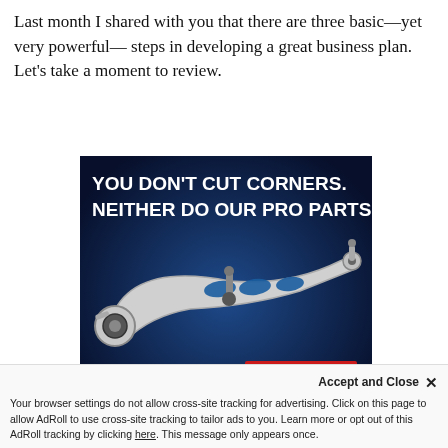Last month I shared with you that there are three basic—yet very powerful— steps in developing a great business plan. Let's take a moment to review.
[Figure (illustration): Advertisement for Advance Professional and Carquest Premium auto parts. Dark blue background with white bold text 'YOU DON'T CUT CORNERS. NEITHER DO OUR PRO PARTS.' with an image of a silver automotive control arm part, a red 'LEARN MORE' button, and brand logos at the bottom.]
In the last column, I introduced the SWOT analysis to
Accept and Close ×
Your browser settings do not allow cross-site tracking for advertising. Click on this page to allow AdRoll to use cross-site tracking to tailor ads to you. Learn more or opt out of this AdRoll tracking by clicking here. This message only appears once.